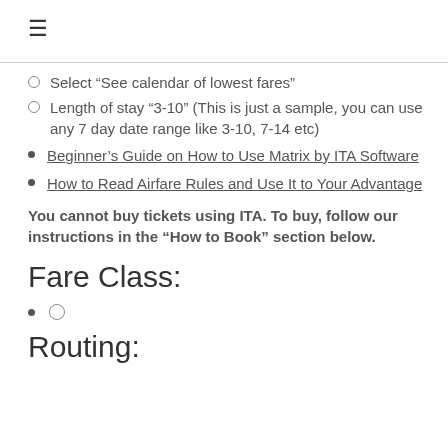≡
Select “See calendar of lowest fares”
Length of stay “3-10” (This is just a sample, you can use any 7 day date range like 3-10, 7-14 etc)
Beginner’s Guide on How to Use Matrix by ITA Software
How to Read Airfare Rules and Use It to Your Advantage
You cannot buy tickets using ITA. To buy, follow our instructions in the “How to Book” section below.
Fare Class:
○
Routing: